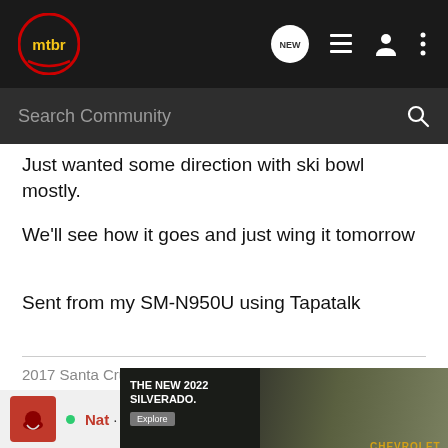mtbr — navigation header with search bar
Just wanted some direction with ski bowl mostly.
We'll see how it goes and just wing it tomorrow
Sent from my SM-N950U using Tapatalk
2017 Santa Cruz Bronson
Nat · Registered
[Figure (screenshot): Chevrolet 2022 Silverado advertisement banner at bottom of page]